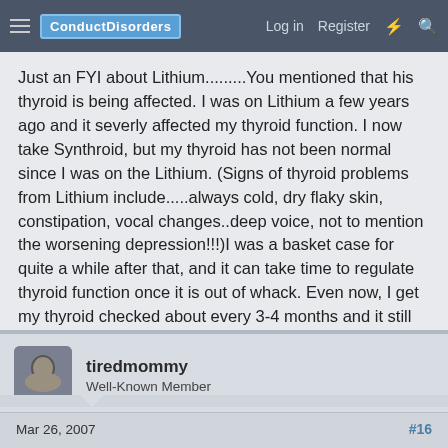ConductDisorders | Log in | Register
Just an FYI about Lithium.........You mentioned that his thyroid is being affected. I was on Lithium a few years ago and it severly affected my thyroid function. I now take Synthroid, but my thyroid has not been normal since I was on the Lithium. (Signs of thyroid problems from Lithium include.....always cold, dry flaky skin, constipation, vocal changes..deep voice, not to mention the worsening depression!!!)I was a basket case for quite a while after that, and it can take time to regulate thyroid function once it is out of whack. Even now, I get my thyroid checked about every 3-4 months and it still goes whacky from time to time.
↩ Reply
tiredmommy
Well-Known Member
Mar 26, 2007 | #16